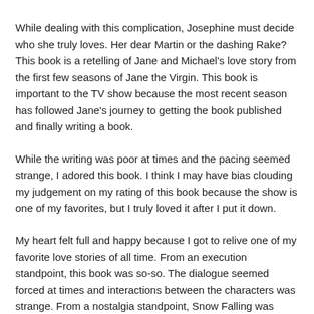While dealing with this complication, Josephine must decide who she truly loves. Her dear Martin or the dashing Rake? This book is a retelling of Jane and Michael's love story from the first few seasons of Jane the Virgin. This book is important to the TV show because the most recent season has followed Jane's journey to getting the book published and finally writing a book.
While the writing was poor at times and the pacing seemed strange, I adored this book. I think I may have bias clouding my judgement on my rating of this book because the show is one of my favorites, but I truly loved it after I put it down.
My heart felt full and happy because I got to relive one of my favorite love stories of all time. From an execution standpoint, this book was so-so. The dialogue seemed forced at times and interactions between the characters was strange. From a nostalgia standpoint, Snow Falling was absolutely perfect.
This book did end up getting five out of five stars from me because of